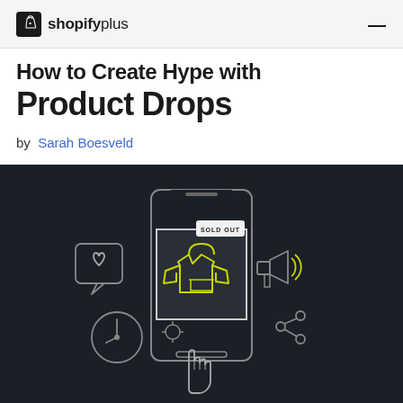shopifyplus
How to Create Hype with Product Drops
by Sarah Boesveld
[Figure (illustration): Dark background illustration showing a smartphone screen with a yellow/green hoodie product image labeled 'SOLD OUT', surrounded by icons: a heart speech bubble on the left, a megaphone with sound waves on the right, a clock/compass at the bottom left, a share/network icon at the bottom right, and a hand cursor pointing upward at the bottom center.]